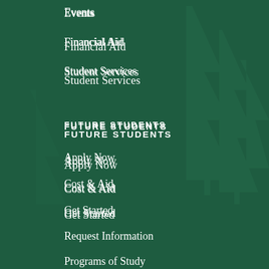Events
Financial Aid
Student Services
FUTURE STUDENTS
Apply Now
Cost & Aid
Get Started
Request Information
Programs of Study
Visit Us
QUICK LINKS
Advancement and Innovation